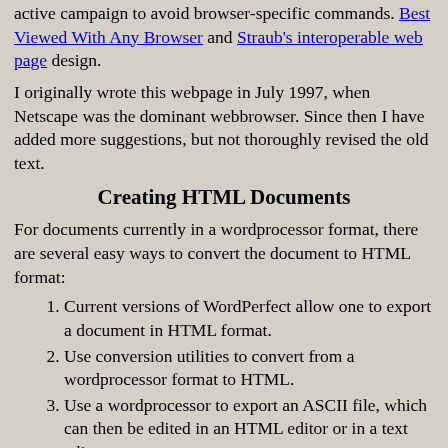active campaign to avoid browser-specific commands. Best Viewed With Any Browser and Straub's interoperable web page design.
I originally wrote this webpage in July 1997, when Netscape was the dominant webbrowser. Since then I have added more suggestions, but not thoroughly revised the old text.
Creating HTML Documents
For documents currently in a wordprocessor format, there are several easy ways to convert the document to HTML format:
Current versions of WordPerfect allow one to export a document in HTML format.
Use conversion utilities to convert from a wordprocessor format to HTML.
Use a wordprocessor to export an ASCII file, which can then be edited in an HTML editor or in a text editor.
Using an HTML editor (e.g., Adobe PageMill) makes it easy for beginners to set colors and to insert anchors (i.e., links within a document, as in an index or table of contents). After I prepared about six webpages with an HTML editor, I preferred to write HTML...